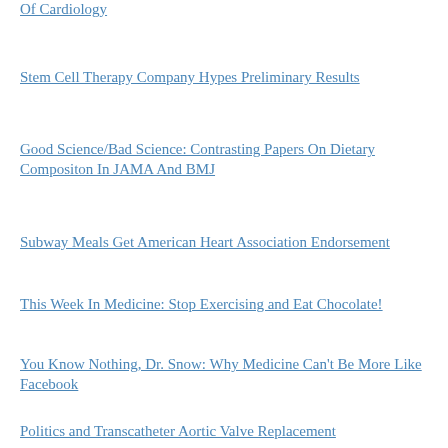Of Cardiology
Stem Cell Therapy Company Hypes Preliminary Results
Good Science/Bad Science: Contrasting Papers On Dietary Compositon In JAMA And BMJ
Subway Meals Get American Heart Association Endorsement
This Week In Medicine: Stop Exercising and Eat Chocolate!
You Know Nothing, Dr. Snow: Why Medicine Can't Be More Like Facebook
Politics and Transcatheter Aortic Valve Replacement